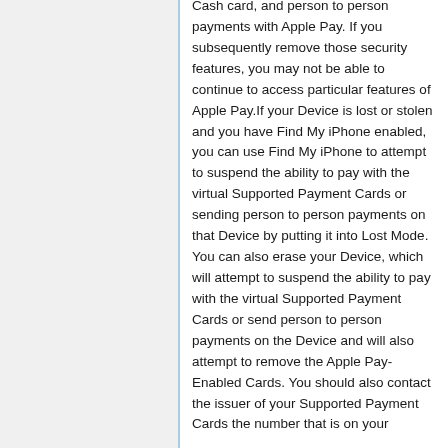Cash card, and person to person payments with Apple Pay. If you subsequently remove those security features, you may not be able to continue to access particular features of Apple Pay.If your Device is lost or stolen and you have Find My iPhone enabled, you can use Find My iPhone to attempt to suspend the ability to pay with the virtual Supported Payment Cards or sending person to person payments on that Device by putting it into Lost Mode. You can also erase your Device, which will attempt to suspend the ability to pay with the virtual Supported Payment Cards or send person to person payments on the Device and will also attempt to remove the Apple Pay-Enabled Cards. You should also contact the issuer of your Supported Payment Cards the number that is on your